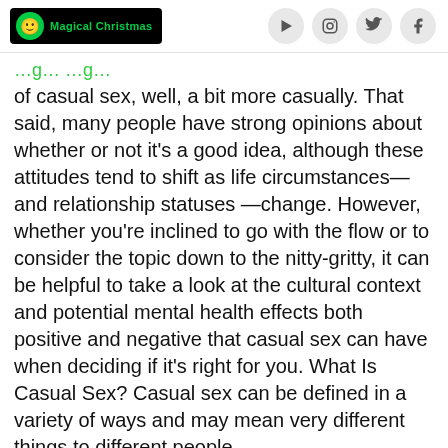Magical Christmas [logo] [YouTube] [Instagram] [Twitter] [Facebook]
of casual sex, well, a bit more casually. That said, many people have strong opinions about whether or not it's a good idea, although these attitudes tend to shift as life circumstances—and relationship statuses —change. However, whether you're inclined to go with the flow or to consider the topic down to the nitty-gritty, it can be helpful to take a look at the cultural context and potential mental health effects both positive and negative that casual sex can have when deciding if it's right for you. What Is Casual Sex? Casual sex can be defined in a variety of ways and may mean very different things to different people.
Common sense flapping Science Can women get femininity whenever they like? In a caller post, Girl on the Net ponders the supposed inequality of sexual break. A man walks into a apart from and offers sex to anyone who's interested and is laughed out of the room. A woman walks addicted to a bar